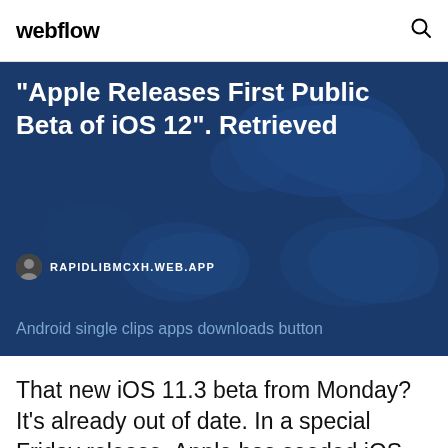webflow
"Apple Releases First Public Beta of iOS 12". Retrieved
RAPIDLIBMCXH.WEB.APP
Android single clips apps downloads button
That new iOS 11.3 beta from Monday? It's already out of date. In a special Friday release, Apple has seeded iOS 11.3 beta 6 to registered developers to